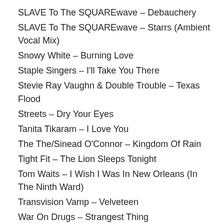SLAVE To The SQUAREwave – Debauchery
SLAVE To The SQUAREwave – Starrs (Ambient Vocal Mix)
Snowy White – Burning Love
Staple Singers – I'll Take You There
Stevie Ray Vaughn & Double Trouble – Texas Flood
Streets – Dry Your Eyes
Tanita Tikaram – I Love You
The The/Sinead O'Connor – Kingdom Of Rain
Tight Fit – The Lion Sleeps Tonight
Tom Waits – I Wish I Was In New Orleans (In The Ninth Ward)
Transvision Vamp – Velveteen
War On Drugs – Strangest Thing
Wild Cherry – Play That Funky Music